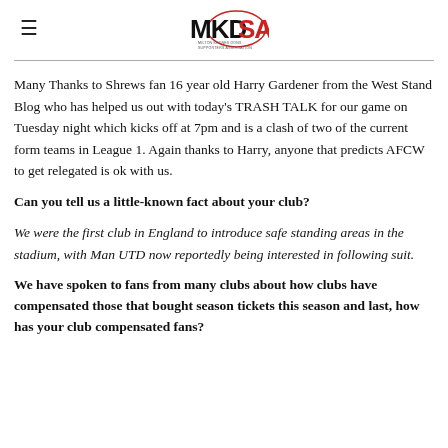MKDSA (logo)
Many Thanks to Shrews fan 16 year old Harry Gardener from the West Stand Blog who has helped us out with today's TRASH TALK for our game on Tuesday night which kicks off at 7pm and is a clash of two of the current form teams in League 1. Again thanks to Harry, anyone that predicts AFCW to get relegated is ok with us.
Can you tell us a little-known fact about your club?
We were the first club in England to introduce safe standing areas in the stadium, with Man UTD now reportedly being interested in following suit.
We have spoken to fans from many clubs about how clubs have compensated those that bought season tickets this season and last, how has your club compensated fans?